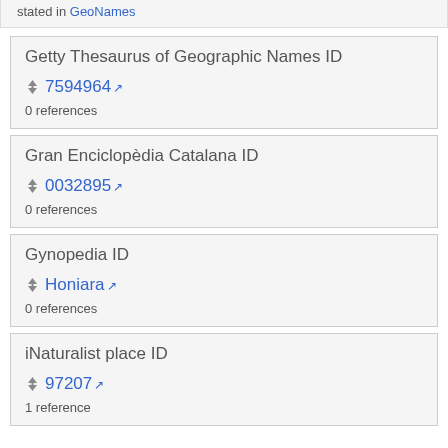stated in GeoNames
Getty Thesaurus of Geographic Names ID
7594964
0 references
Gran Enciclopèdia Catalana ID
0032895
0 references
Gynopedia ID
Honiara
0 references
iNaturalist place ID
97207
1 reference